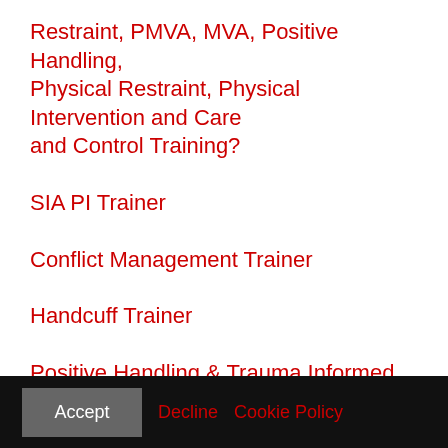Restraint, PMVA, MVA, Positive Handling, Physical Restraint, Physical Intervention and Care and Control Training?
SIA PI Trainer
Conflict Management Trainer
Handcuff Trainer
Positive Handling & Trauma Informed Care
BILD & RRN
Recent Blog Posts
Accept   Decline   Cookie Policy